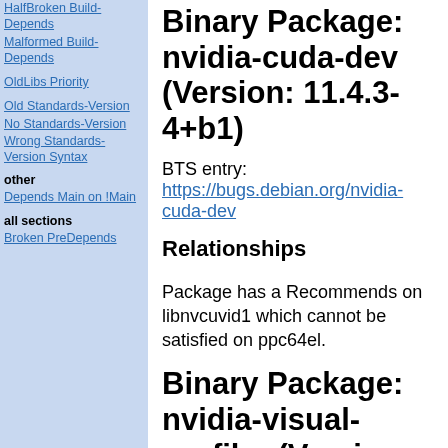HalfBroken Build-Depends
Malformed Build-Depends
OldLibs Priority
Old Standards-Version
No Standards-Version
Wrong Standards-Version Syntax
other
Depends Main on !Main
all sections
Broken PreDepends
Binary Package: nvidia-cuda-dev (Version: 11.4.3-4+b1)
BTS entry:
https://bugs.debian.org/nvidia-cuda-dev
Relationships
Package has a Recommends on libnvcuvid1 which cannot be satisfied on ppc64el.
Binary Package: nvidia-visual-profiler (Version: 11.4.120~11.4.3-